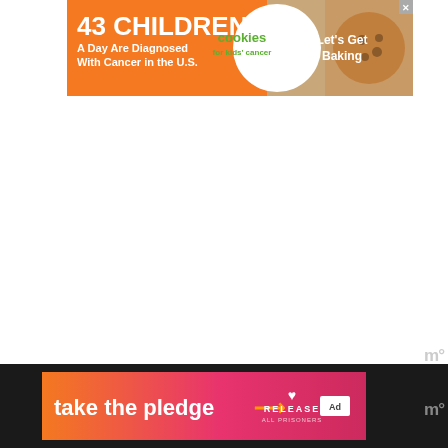[Figure (infographic): Top banner ad: orange background with '43 CHILDREN A Day Are Diagnosed With Cancer in the U.S.' text, Cookies for Kids' Cancer logo in white oval, and a cookie image with 'Let's Get Baking' text on tan/brown background. Close X button in top right.]
[Figure (infographic): Bottom banner ad on black bar: gradient orange-to-pink background with 'take the pledge' text in white, orange arrow, Release All Prisoners logo, and ad marker box.]